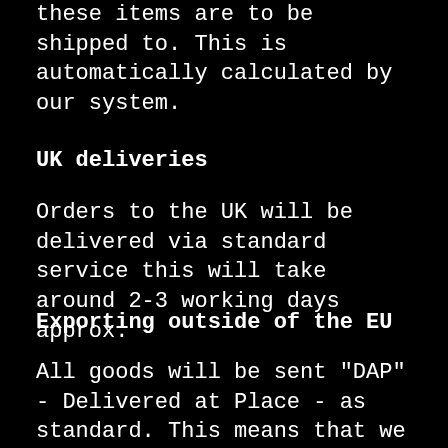these items are to be shipped to. This is automatically calculated by our system.
UK deliveries
Orders to the UK will be delivered via standard service this will take around 2-3 working days approx.
Exporting outside of the EU
All goods will be sent "DAP" - Delivered at Place - as standard. This means that we will arrange for carriage to the stated delivery address, but that the buyer remains responsible for all costs related to import clearance.
Some countries have strict rules around what